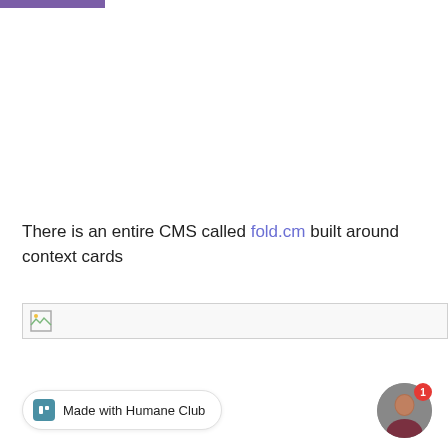[Figure (other): Purple horizontal bar at top left of page]
There is an entire CMS called fold.cm built around context cards
[Figure (other): Broken image placeholder with thin border]
[Figure (other): Made with Humane Club badge at bottom left]
[Figure (photo): Circular avatar photo of a person with a red notification badge showing 1]